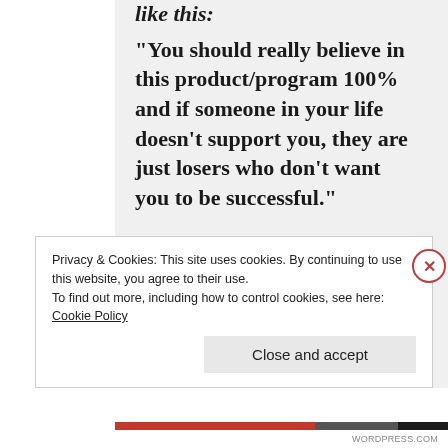“You should really believe in this product/program 100% and if someone in your life doesn’t support you, they are just losers who don’t want you to be successful.”
It therefore becomes not only a religion, but a cult. This causes a person’s mind to create an artificial
Privacy & Cookies: This site uses cookies. By continuing to use this website, you agree to their use.
To find out more, including how to control cookies, see here: Cookie Policy